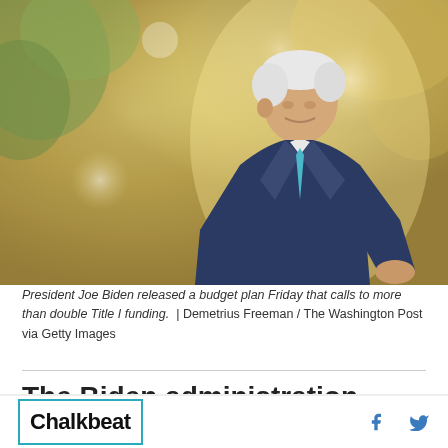[Figure (photo): President Joe Biden speaking outdoors, wearing a dark blue suit and teal tie, with blurred green and golden foliage in the background]
President Joe Biden released a budget plan Friday that calls to more than double Title I funding.  | Demetrius Freeman / The Washington Post via Getty Images
The Biden administration proposed more than
Chalkbeat